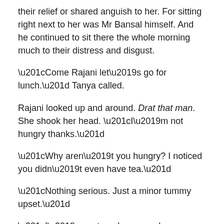their relief or shared anguish to her. For sitting right next to her was Mr Bansal himself. And he continued to sit there the whole morning much to their distress and disgust.
“Come Rajani let’s go for lunch.” Tanya called.
Rajani looked up and around. Drat that man. She shook her head. “I’m not hungry thanks.”
“Why aren’t you hungry? I noticed you didn’t even have tea.”
“Nothing serious. Just a minor tummy upset.”
“I’ve got curd, you can have that.” Tanya said.
Rajani was touched. “Thanks so much. But actually I wanted to have lunch with Pakhi,” she confessed.
“Are you” something beginning “Rajani you should…”